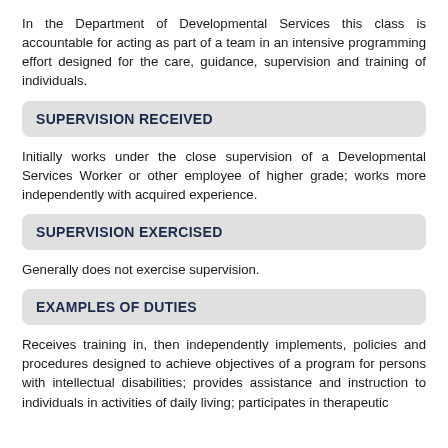In the Department of Developmental Services this class is accountable for acting as part of a team in an intensive programming effort designed for the care, guidance, supervision and training of individuals.
SUPERVISION RECEIVED
Initially works under the close supervision of a Developmental Services Worker or other employee of higher grade; works more independently with acquired experience.
SUPERVISION EXERCISED
Generally does not exercise supervision.
EXAMPLES OF DUTIES
Receives training in, then independently implements, policies and procedures designed to achieve objectives of a program for persons with intellectual disabilities; provides assistance and instruction to individuals in activities of daily living; participates in therapeutic